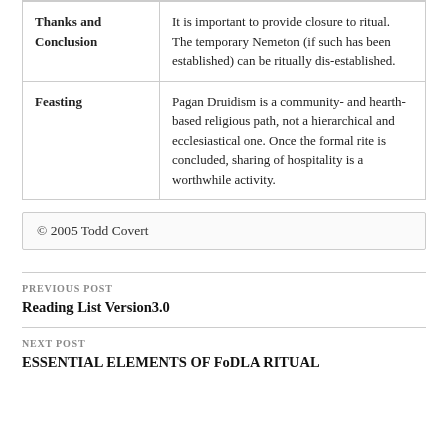|  |  |
| --- | --- |
| Thanks and Conclusion | It is important to provide closure to ritual. The temporary Nemeton (if such has been established) can be ritually dis-established. |
| Feasting | Pagan Druidism is a community- and hearth-based religious path, not a hierarchical and ecclesiastical one. Once the formal rite is concluded, sharing of hospitality is a worthwhile activity. |
© 2005 Todd Covert
PREVIOUS POST
Reading List Version3.0
NEXT POST
ESSENTIAL ELEMENTS OF FoDLA RITUAL